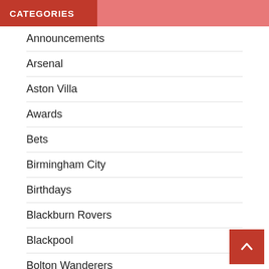CATEGORIES
Announcements
Arsenal
Aston Villa
Awards
Bets
Birmingham City
Birthdays
Blackburn Rovers
Blackpool
Bolton Wanderers
Bournemouth
Bricki